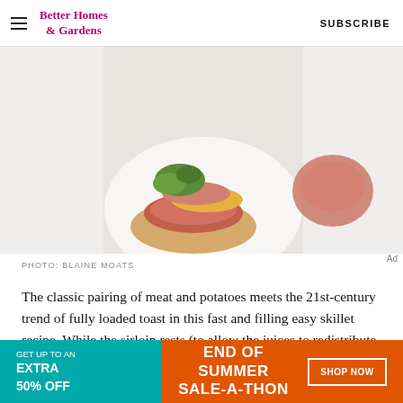Better Homes & Gardens  SUBSCRIBE
[Figure (photo): Top-down view of sliced steak on toast with garnish of fresh parsley/herbs, on a white background. Partial view of a second serving visible at right edge.]
PHOTO: BLAINE MOATS
The classic pairing of meat and potatoes meets the 21st-century trend of fully loaded toast in this fast and filling easy skillet recipe. While the sirloin rests (to allow the juices to redistribute for the moistest meat ever), pan-fry slices of russet potatoes in the same skillet you used for the steak. When it's all done, layer
[Figure (other): Advertisement banner: END OF SUMMER SALE-A-THON. GET UP TO AN EXTRA 50% OFF. SHOP NOW button.]